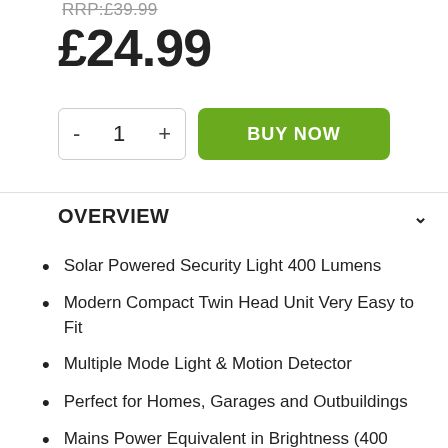RRP:£39.99
£24.99
- 1 + BUY NOW
OVERVIEW
Solar Powered Security Light 400 Lumens
Modern Compact Twin Head Unit Very Easy to Fit
Multiple Mode Light & Motion Detector
Perfect for Homes, Garages and Outbuildings
Mains Power Equivalent in Brightness (400 lumens).
Handy Flood Light Mode (constant ON setting)
Everything You Need Included